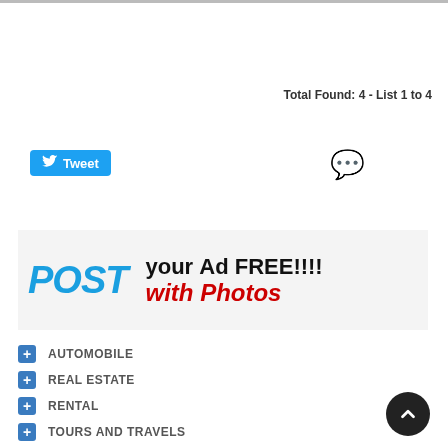Total Found: 4 - List 1 to 4
[Figure (other): Twitter Tweet button (blue rounded rectangle with bird icon and 'Tweet' label)]
[Figure (other): Orange speech bubble / chat icon]
[Figure (other): Advertisement banner: 'POST your Ad FREE!!!! with Photos' on light gray background]
AUTOMOBILE
REAL ESTATE
RENTAL
TOURS AND TRAVELS
JOBS